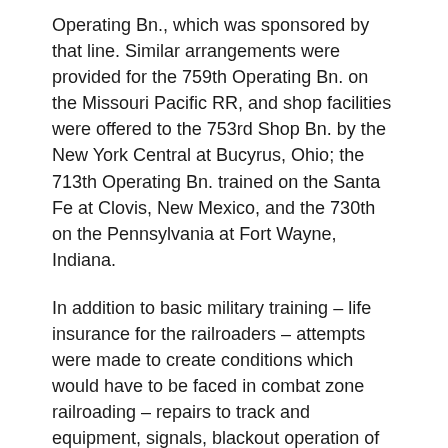Operating Bn., which was sponsored by that line. Similar arrangements were provided for the 759th Operating Bn. on the Missouri Pacific RR, and shop facilities were offered to the 753rd Shop Bn. by the New York Central at Bucyrus, Ohio; the 713th Operating Bn. trained on the Santa Fe at Clovis, New Mexico, and the 730th on the Pennsylvania at Fort Wayne, Indiana.
In addition to basic military training – life insurance for the railroaders – attempts were made to create conditions which would have to be faced in combat zone railroading – repairs to track and equipment, signals, blackout operation of trains, and so on – life insurance for the 1700s. The fall of 1942 saw the first dispatch of units of MRS to overseas destinations. The 761st went to England. The 702nd Railway Grand Division, 711th Operating Bn., 730th Operating Bn., 754th Shop Bn., and 762nd Diesel Shop Bn. went to Iran. The 770th Operating